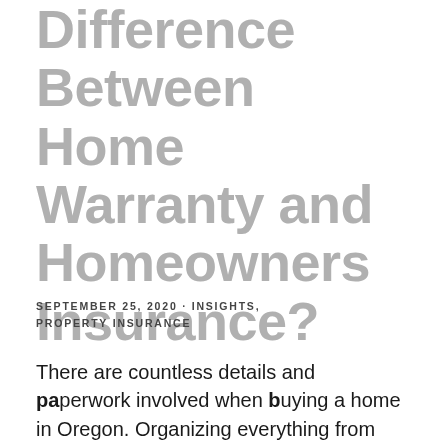Difference Between Home Warranty and Homeowners Insurance?
SEPTEMBER 25, 2020 · INSIGHTS, PROPERTY INSURANCE
There are countless details and paperwork involved when buying a home in Oregon. Organizing everything from start to finish requires considerable time and